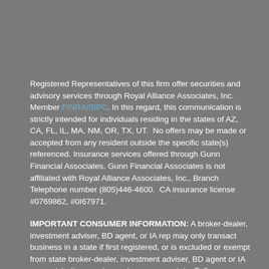Registered Representatives of this firm offer securities and advisory services through Royal Alliance Associates, Inc. Member FINRA/SIPC. In this regard, this communication is strictly intended for individuals residing in the states of AZ, CA, FL, IL, MA, NM, OR, TX, UT.  No offers may be made or accepted from any resident outside the specific state(s) referenced. Insurance services offered through Gunn Financial Associates. Gunn Financial Associates is not affiliated with Royal Alliance Associates, Inc., Branch Telephone number (805)446-4600.  CA insurance license #0769862, #0I67971.
IMPORTANT CONSUMER INFORMATION: A broker-dealer, investment adviser, BD agent, or IA rep may only transact business in a state if first registered, or is excluded or exempt from state broker-dealer, investment adviser, BD agent or IA rep registration requirements, as appropriate. Follow-up, individualized responses to persons in a state by such a firm or individual that involve either effecting or attempting to effect transactions in securities, or the rendering of personalized investment advice for compensation, will not be made without first complying with appropriate